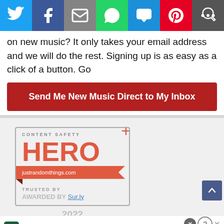[Figure (infographic): Social media share bar with Twitter (blue), Facebook (dark blue), Email (grey), WhatsApp (green), SMS (blue), Pinterest (red), and More (dark grey) buttons with white icons]
on new music? It only takes your email address and we will do the rest. Signing up is as easy as a click of a button. Go
[Figure (infographic): Red CTA button labeled 'Send Me New Music Direct to My Inbox']
[Figure (infographic): Content Safety Hero badge with justrandomthings.com ribbon, Trusted By Sur.ly award, year 2022, and a plus icon in coral color]
[Figure (infographic): Tally app advertisement banner: Tally logo with text 'Fast credit card payoff' and a green Download Now button]